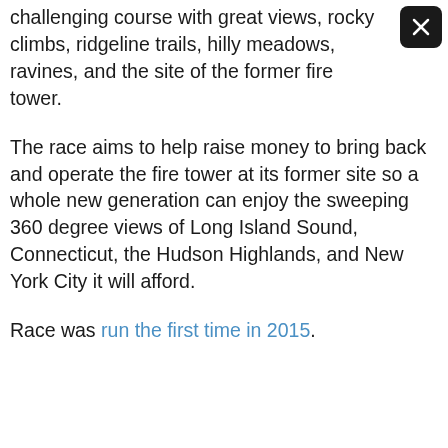challenging course with great views, rocky climbs, ridgeline trails, hilly meadows, ravines, and the site of the former fire tower.
The race aims to help raise money to bring back and operate the fire tower at its former site so a whole new generation can enjoy the sweeping 360 degree views of Long Island Sound, Connecticut, the Hudson Highlands, and New York City it will afford.
Race was run the first time in 2015.